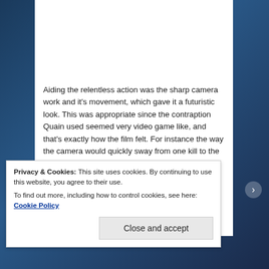Aiding the relentless action was the sharp camera work and it's movement, which gave it a futuristic look. This was appropriate since the contraption Quain used seemed very video game like, and that's exactly how the film felt. For instance the way the camera would quickly sway from one kill to the other and the zero gravity action scenes. It made the sequences a lot more exciting and engaging to watch.
The plot is very complex and it leaves a lot of room for
Privacy & Cookies: This site uses cookies. By continuing to use this website, you agree to their use.
To find out more, including how to control cookies, see here: Cookie Policy
Close and accept